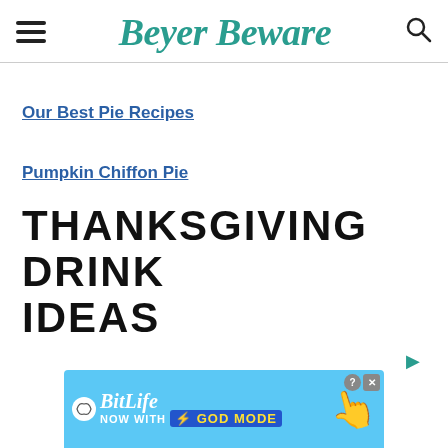Beyer Beware
Our Best Pie Recipes
Pumpkin Chiffon Pie
THANKSGIVING DRINK IDEAS
[Figure (screenshot): BitLife advertisement banner: 'NOW WITH GOD MODE' on a light blue background with a hand pointer graphic]